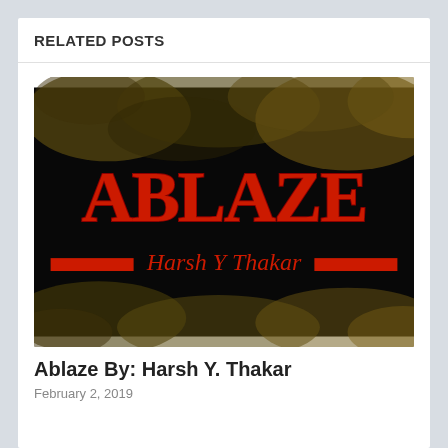RELATED POSTS
[Figure (illustration): Book cover image for 'Ablaze' by Harsh Y Thakar. Dark background with smoky olive/brown textures at top and bottom. 'ABLAZE' written in large red stylized letters in the center. Below, a red banner strip with the author name 'Harsh Y Thakar' written in red cursive script.]
Ablaze By: Harsh Y. Thakar
February 2, 2019